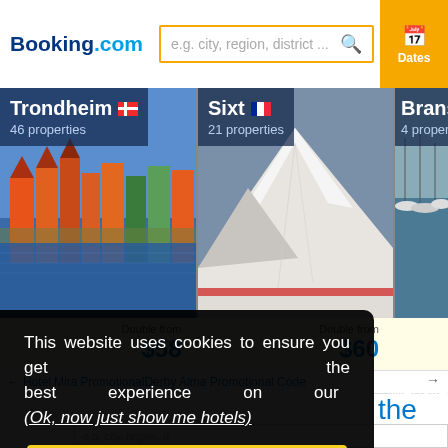[Figure (screenshot): Booking.com logo with blue and teal text]
e.g. city, region, district ...
Dates
[Figure (photo): Trondheim Norway destination card with colorful waterfront buildings, 46 properties, Double from $58]
[Figure (photo): Sixt France destination card with snowy mountain slopes, 21 properties, Double from $60]
[Figure (photo): Branso destination card partially visible, 4 properties, boats on water]
Double from
$58
Double from
$60
← Hotel Mira  PromotionalDerby Alma Promotional Code
This website uses cookies to ensure you get the best experience on our website. (Ok, now just show me hotels)
Proceed